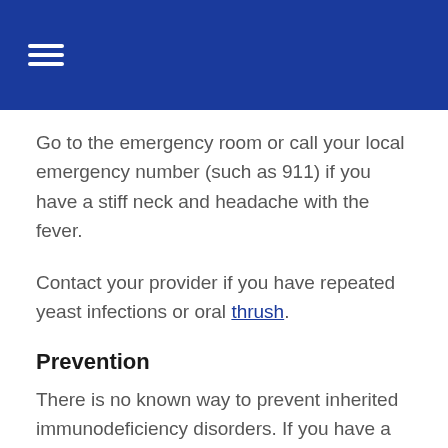Go to the emergency room or call your local emergency number (such as 911) if you have a stiff neck and headache with the fever.
Contact your provider if you have repeated yeast infections or oral thrush.
Prevention
There is no known way to prevent inherited immunodeficiency disorders. If you have a family history of immunodeficiency disorders, you might want to consider genetic counseling.
Practicing safe sex and avoiding the sharing of body...